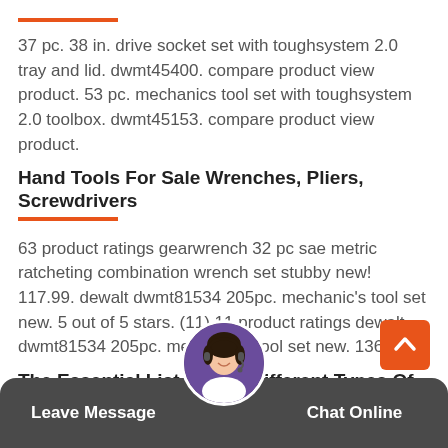37 pc. 38 in. drive socket set with toughsystem 2.0 tray and lid. dwmt45400. compare product view product. 53 pc. mechanics tool set with toughsystem 2.0 toolbox. dwmt45153. compare product view product.
Hand Tools For Sale Wrenches, Pliers, Screwdrivers
63 product ratings gearwrench 32 pc sae metric ratcheting combination wrench set stubby new! 117.99. dewalt dwmt81534 205pc. mechanic's tool set new. 5 out of 5 stars. (11) 11 product ratings dewalt dwmt81534 205pc. mechanic's tool set new. 136.52.
The Essential List Of The Different Types Of Power Tools
A bench grinder is a form of grinding machine that uses abrasive wheels. the larger version of these grinders are
Leave Message
Chat Online